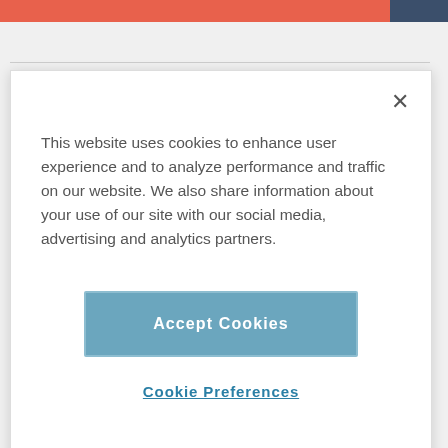[Figure (screenshot): Website screenshot with red and navy top bars, cookie consent modal overlay, and article content below]
This website uses cookies to enhance user experience and to analyze performance and traffic on our website. We also share information about your use of our site with our social media, advertising and analytics partners.
Accept Cookies
Cookie Preferences
By Mike Paglia
What if there was a way to travel to an exotic